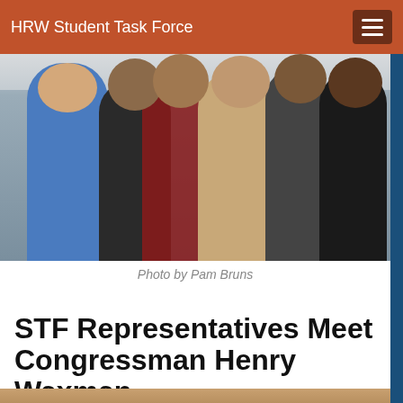HRW Student Task Force
[Figure (photo): Group photo of several young people posed together indoors, one person wearing a blue hoodie, another with a red scarf, another in a tan coat, and others in dark clothing.]
Photo by Pam Bruns
STF Representatives Meet Congressman Henry Waxman
[Figure (photo): Partial photo visible at bottom of page, appears to show a person's face/head.]